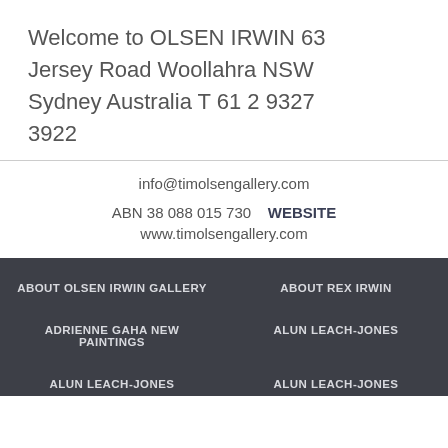Welcome to OLSEN IRWIN 63 Jersey Road Woollahra NSW Sydney Australia T 61 2 9327 3922
info@timolsengallery.com
ABN 38 088 015 730   WEBSITE
www.timolsengallery.com
ABOUT OLSEN IRWIN GALLERY
ABOUT REX IRWIN
ADRIENNE GAHA NEW PAINTINGS
ALUN LEACH-JONES
ALUN LEACH-JONES
ALUN LEACH-JONES